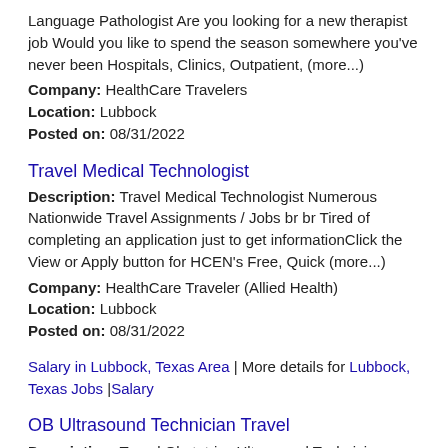Language Pathologist Are you looking for a new therapist job Would you like to spend the season somewhere you've never been Hospitals, Clinics, Outpatient, (more...)
Company: HealthCare Travelers
Location: Lubbock
Posted on: 08/31/2022
Travel Medical Technologist
Description: Travel Medical Technologist Numerous Nationwide Travel Assignments / Jobs br br Tired of completing an application just to get informationClick the View or Apply button for HCEN's Free, Quick (more...)
Company: HealthCare Traveler (Allied Health)
Location: Lubbock
Posted on: 08/31/2022
Salary in Lubbock, Texas Area | More details for Lubbock, Texas Jobs |Salary
OB Ultrasound Technician Travel
Description: Travel Obstetrics Ultrasound Technician Numerous Nationwide Travel Assignments / Jobs br br Tired of completing an application just to get informationClick the View or Apply button for HCEN's Free, (more...)